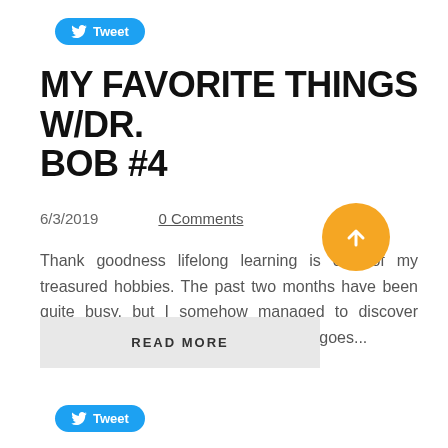[Figure (other): Twitter Tweet button at top of page]
MY FAVORITE THINGS W/DR. BOB #4
6/3/2019      0 Comments
Thank goodness lifelong learning is one of my treasured hobbies. The past two months have been quite busy, but I somehow managed to discover some great new learning gems. Here it goes...
[Figure (other): READ MORE button - grey rectangle with bold text]
[Figure (other): Scroll to top button - gold/yellow circle with upward arrow]
[Figure (other): Twitter Tweet button at bottom of page]